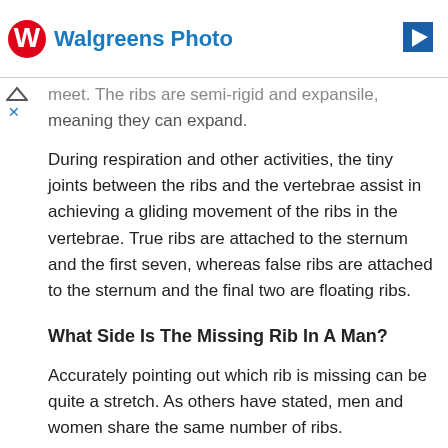[Figure (logo): Walgreens Photo advertisement banner with red W logo and blue text 'Walgreens Photo', and a blue arrow icon on the right]
meet. The ribs are semi-rigid and expansile, meaning they can expand.
During respiration and other activities, the tiny joints between the ribs and the vertebrae assist in achieving a gliding movement of the ribs in the vertebrae. True ribs are attached to the sternum and the first seven, whereas false ribs are attached to the sternum and the final two are floating ribs.
What Side Is The Missing Rib In A Man?
Accurately pointing out which rib is missing can be quite a stretch. As others have stated, men and women share the same number of ribs. Nevertheless, there is another